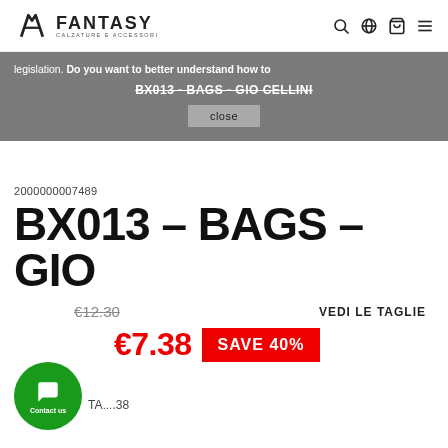FANTASY Calzature e Accessori — navigation header with search, globe, cart, and menu icons
legislation. Do you want to better understand how to disable cookies?
BX013 - BAGS - GIO CELLINI
close
2000000007489
BX013 - BAGS - GIO
€12.30 (strikethrough)  VEDI LE TAGLIE
€7.38  SAVE 40%
Contact us
TA...38